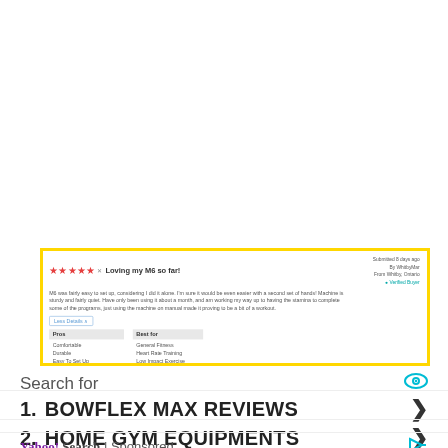[Figure (screenshot): Screenshot of a product review with yellow border. Shows 5 stars and title 'Loving my M6 so far!', review text about easy setup and quiet machine, Less Details button, a Pros table (Comfortable, Durable, Easy To Set Up, Easy To Use, Quiet) and Best for table (General Fitness, Heart Rate Training, Low Impact Exercise). Right side shows 'Submitted 8 days ago By WhitbyMar From Whitby, Ontario' and green Verified Buyer badge.]
Search for
1. BOWFLEX MAX REVIEWS
2. HOME GYM EQUIPMENTS
Yahoo! Search | Sponsored